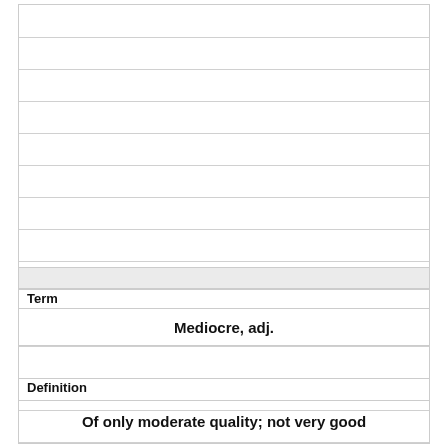Term
Mediocre, adj.
Definition
Of only moderate quality; not very good